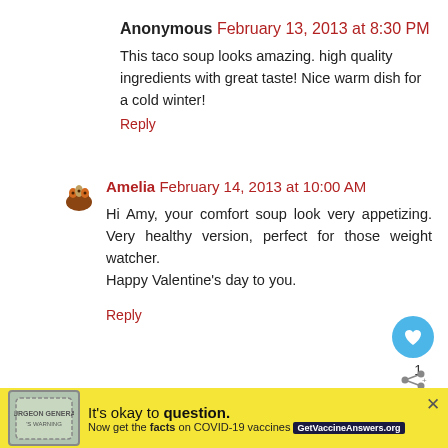Anonymous February 13, 2013 at 8:30 PM
This taco soup looks amazing. high quality ingredients with great taste! Nice warm dish for a cold winter!
Reply
Amelia February 14, 2013 at 10:00 AM
Hi Amy, your comfort soup look very appetizing. Very healthy version, perfect for those weight watcher.

Happy Valentine's day to you.
Reply
Cass @foodmyfriend February 14, 2013 at 6:48 PM
I have never made a taco soup but I do love tacos :) very
[Figure (infographic): COVID-19 vaccine ad banner: muffin logo, text 'It’s okay to question. Now get the facts on COVID-19 vaccines GetVaccineAnswers.org', close button X]